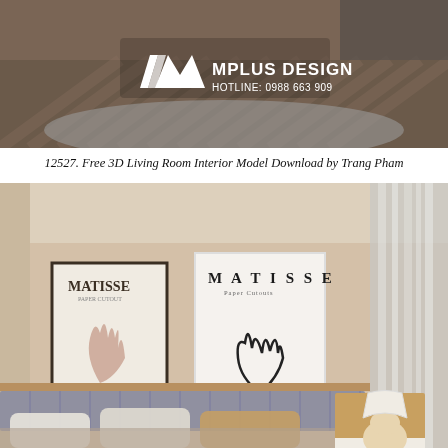[Figure (photo): Top portion of a bedroom/living room interior render with dark wood herringbone floor and a gray rug, overlaid with Mplus Design logo and hotline: 0988 663 909]
12527. Free 3D Living Room Interior Model Download by Trang Pham
[Figure (photo): 3D rendered bedroom interior with beige walls, two Matisse art prints on wall, bed with gray headboard and warm pillows, wooden nightstand with round lamp, sheer white curtain]